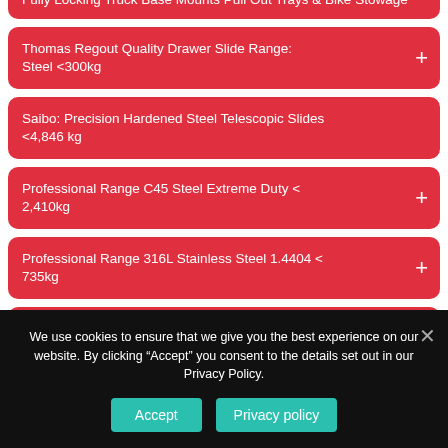Fully Locking Truck Base Mounts Pull Out Trays & Bike Stowage
Thomas Regout Quality Drawer Slide Range: Steel <300kg
Saibo: Precision Hardened Steel Telescopic Slides <4,846 kg
Professional Range C45 Steel Extreme Duty < 2,410kg
Professional Range 316L Stainless Steel 1.4404 < 735kg
Professional Range 6082 Aluminium/Inox < 330kg
Radial Aluminium Cross Rollers: Aerospace AS9100-D <
We use cookies to ensure that we give you the best experience on our website. By clicking “Accept” you consent to the details set out in our Privacy Policy.